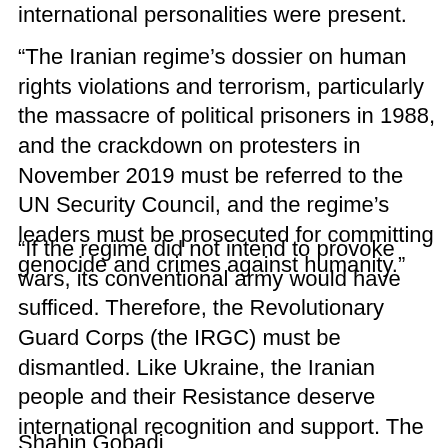international personalities were present.
“The Iranian regime’s dossier on human rights violations and terrorism, particularly the massacre of political prisoners in 1988, and the crackdown on protesters in November 2019 must be referred to the UN Security Council, and the regime’s leaders must be prosecuted for committing genocide and crimes against humanity.”
“If the regime did not intend to provoke wars, its conventional army would have sufficed. Therefore, the Revolutionary Guard Corps (the IRGC) must be dismantled. Like Ukraine, the Iranian people and their Resistance deserve international recognition and support. The war of Iran’s rebellious youths against the terrorist IRGC to overthrow the regime must be recognized,” NCRI President-elect concluded.
Shahin Gobadi